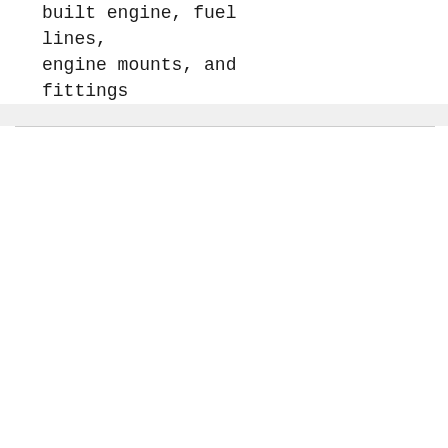build quality and body built engine, fuel lines, engine mounts, and fittings